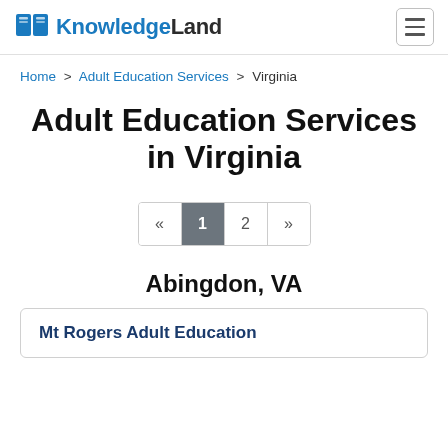KnowledgeLand
Home > Adult Education Services > Virginia
Adult Education Services in Virginia
« 1 2 »
Abingdon, VA
Mt Rogers Adult Education